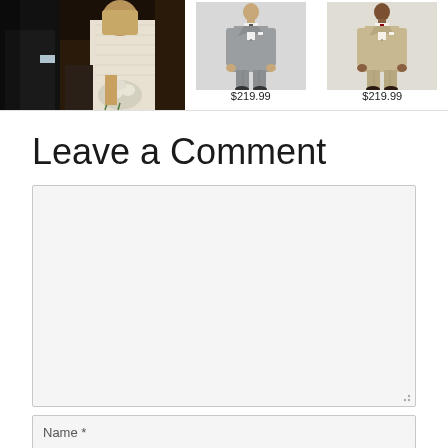[Figure (photo): Wedding scene photo showing a man in dark suit and woman in white lace wedding dress holding flowers, partially visible]
[Figure (photo): Product photo of man in grey suit, full body shot on light grey background. Price: $219.99]
[Figure (photo): Product photo of man in tan/beige suit with red tie, full body shot on light background. Price: $219.99]
Leave a Comment
(comment textarea - empty)
Name *